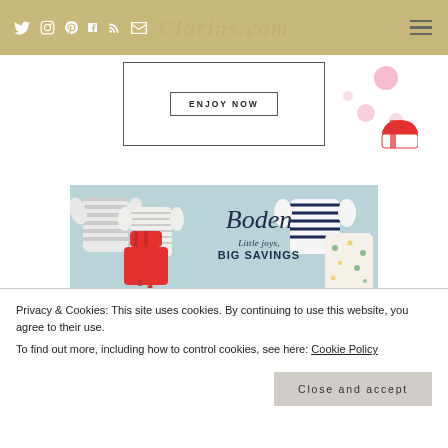Clarins.com — social icons and navigation
[Figure (screenshot): Clarins advertisement banner with 'ENJOY NOW' button and decorative pink circles and red striped gift]
[Figure (screenshot): Boden clothing advertisement on light blue background showing children's clothing items with text 'Boden — Little joys, BIG SAVINGS']
Privacy & Cookies: This site uses cookies. By continuing to use this website, you agree to their use.
To find out more, including how to control cookies, see here: Cookie Policy
Close and accept